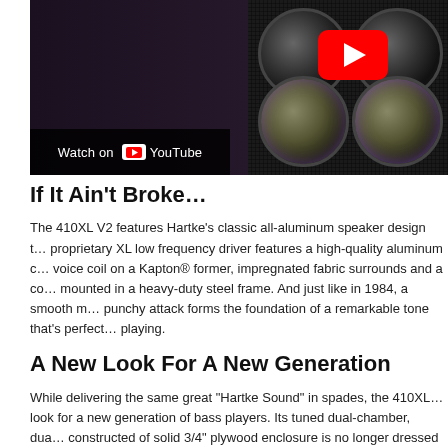[Figure (screenshot): YouTube video thumbnail showing a bass speaker cabinet on the right side with purple-lit speaker cones, and a person standing on the left in a dark studio. A YouTube play button is visible in the upper right. A 'Watch on YouTube' overlay is shown at the bottom left.]
If It Ain't Broke…
The 410XL V2 features Hartke's classic all-aluminum speaker design t… proprietary XL low frequency driver features a high-quality aluminum c… voice coil on a Kapton® former, impregnated fabric surrounds and a co… mounted in a heavy-duty steel frame. And just like in 1984, a smooth m… punchy attack forms the foundation of a remarkable tone that's perfect… playing.
A New Look For A New Generation
While delivering the same great "Hartke Sound" in spades, the 410XL… look for a new generation of bass players. Its tuned dual-chamber, dua… constructed of solid 3/4" plywood enclosure is no longer dressed in bla…